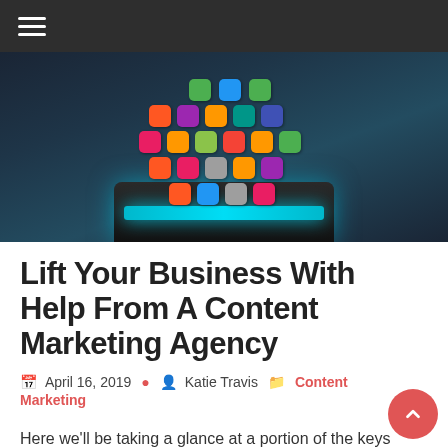Navigation bar with hamburger menu
[Figure (photo): Person in suit holding a tablet device with colorful app icons floating above it against a dark background]
Lift Your Business With Help From A Content Marketing Agency
April 16, 2019  Katie Travis  Content Marketing
Here we'll be taking a glance at a portion of the keys